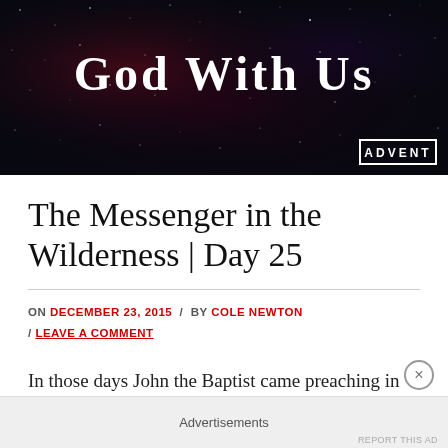[Figure (photo): Dark space/galaxy banner image with stars and nebula in dark blue, black, and red tones. Large white serif text 'God With Us' centered at top. White bordered badge with 'ADVENT' in bottom right corner.]
The Messenger in the Wilderness | Day 25
ON DECEMBER 23, 2015 / BY COLE NEWTON / LEAVE A COMMENT
In those days John the Baptist came preaching in
Advertisements